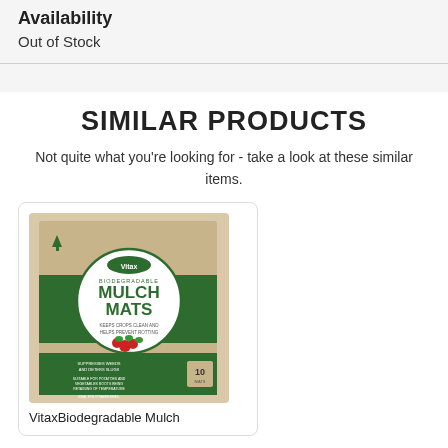Availability
Out of Stock
SIMILAR PRODUCTS
Not quite what you're looking for - take a look at these similar items.
[Figure (photo): Product image of Vitax Biodegradable Mulch Mats box — kraft cardboard box with green banner, white circle label reading MULCH MATS, KEEPS CROPS CLEAN AND HELPS PREVENT ROTTING, with images of strawberries and greenery, pack of 10]
VitaxBiodegradable Mulch